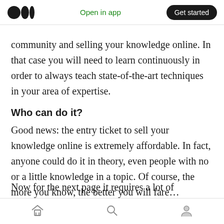Open in app | Get started
community and selling your knowledge online. In that case you will need to learn continuously in order to always teach state-of-the-art techniques in your area of expertise.
Who can do it?
Good news: the entry ticket to sell your knowledge online is extremely affordable. In fact, anyone could do it in theory, even people with no or a little knowledge in a topic. Of course, the more you know, the better you will fare…
Now for the next paragraph it requires a lot of
Home | Search | Profile